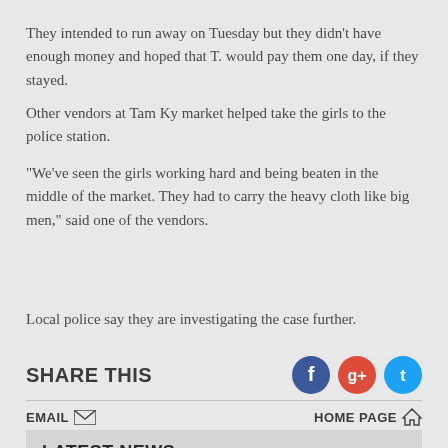They intended to run away on Tuesday but they didn't have enough money and hoped that T. would pay them one day, if they stayed.
Other vendors at Tam Ky market helped take the girls to the police station.
"We've seen the girls working hard and being beaten in the middle of the market. They had to carry the heavy cloth like big men," said one of the vendors.
Local police say they are investigating the case further.
SHARE THIS
EMAIL  HOME PAGE
LATEST NEWS